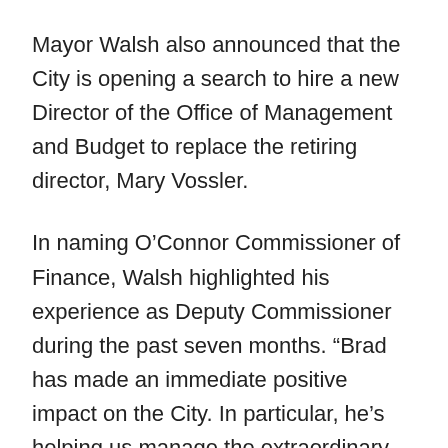Mayor Walsh also announced that the City is opening a search to hire a new Director of the Office of Management and Budget to replace the retiring director, Mary Vossler.
In naming O'Connor Commissioner of Finance, Walsh highlighted his experience as Deputy Commissioner during the past seven months. “Brad has made an immediate positive impact on the City. In particular, he’s helping us manage the extraordinary impact on revenue of COVID-19. He’s worked closely with Commissioner DelVecchio and is prepared for a smooth transition.”
Popular Stories Right now